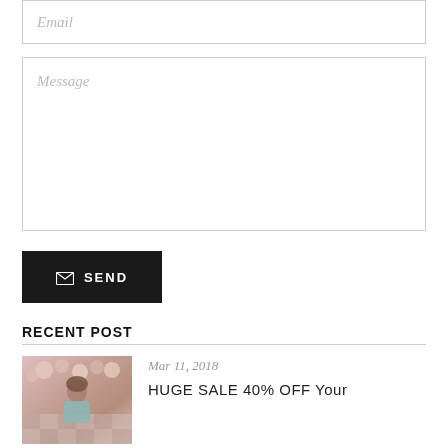[Figure (screenshot): Email input field with placeholder text 'Email']
[Figure (screenshot): Message textarea with placeholder text 'Message']
[Figure (screenshot): Dark SEND button with envelope icon and 'SEND' label]
RECENT POST
[Figure (photo): Photo of a woman at an event with decorative backdrop]
Mar 11, 2018
HUGE SALE 40% OFF Your